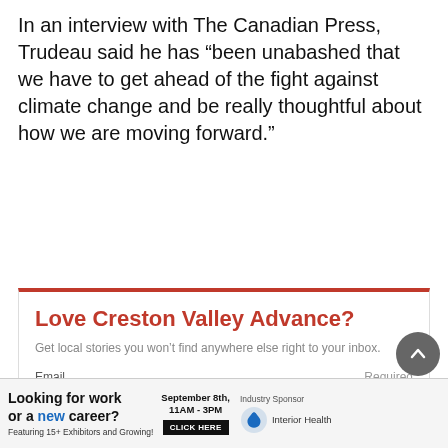In an interview with The Canadian Press, Trudeau said he has “been unabashed that we have to get ahead of the fight against climate change and be really thoughtful about how we are moving forward.”
Love Creston Valley Advance?
Get local stories you won’t find anywhere else right to your inbox.
[Figure (infographic): Email subscription form with label 'Email', 'Required' tag, an input box, and a red SUBSCRIBE button]
[Figure (infographic): Advertisement banner: Looking for work or a new career? Featuring 15+ Exhibitors and Growing! September 8th, 11AM-3PM, CLICK HERE. Industry Sponsor: Interior Health]